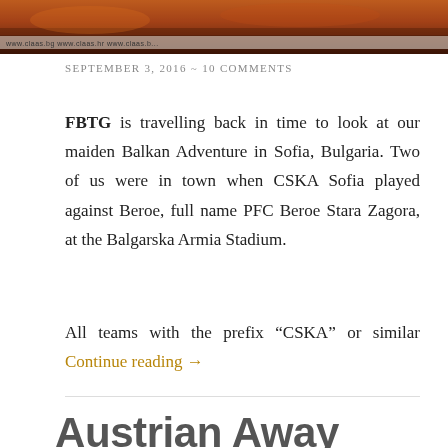[Figure (photo): Top banner photo of a football stadium or sports event with banners reading 'www.claas.bg', 'www.claas.hr', etc. Orange and red tones with crowd in background.]
SEPTEMBER 3, 2016 ~ 10 COMMENTS
FBTG is travelling back in time to look at our maiden Balkan Adventure in Sofia, Bulgaria. Two of us were in town when CSKA Sofia played against Beroe, full name PFC Beroe Stara Zagora, at the Balgarska Armia Stadium.
All teams with the prefix “CSKA” or similar Continue reading →
Austrian Away Days